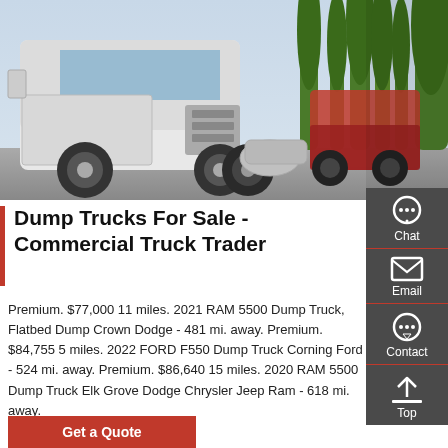[Figure (photo): Photo of white semi dump trucks parked in a lot with trees in the background]
Dump Trucks For Sale - Commercial Truck Trader
Premium. $77,000 11 miles. 2021 RAM 5500 Dump Truck, Flatbed Dump Crown Dodge - 481 mi. away. Premium. $84,755 5 miles. 2022 FORD F550 Dump Truck Corning Ford - 524 mi. away. Premium. $86,640 15 miles. 2020 RAM 5500 Dump Truck Elk Grove Dodge Chrysler Jeep Ram - 618 mi. away.
Get a Quote